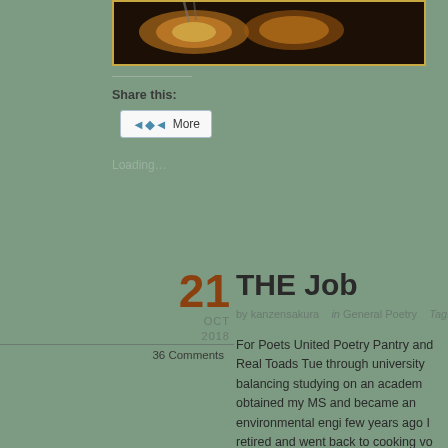[Figure (photo): Partial photo of cooking pots/pans on a stove with warm golden/orange tones, cropped at top of page]
Share this:
More
Loading...
THE Job
21 OCT 2018
36 Comments
by kanzensakura   in General Poetry   Tags: arthritis, ch
For Poets United Poetry Pantry and Real Toads Tue through university balancing studying on an academ obtained my MS and became an environmental engi few years ago I retired and went back to cooking vo and at church. I began cooking with my father when